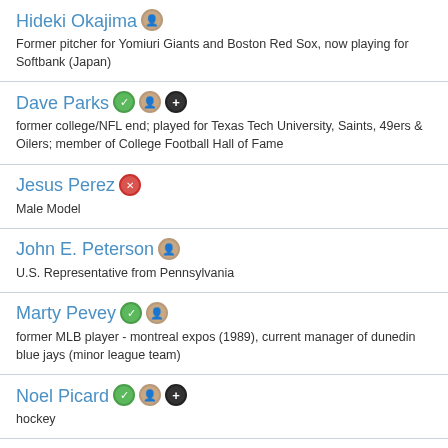Hideki Okajima — Former pitcher for Yomiuri Giants and Boston Red Sox, now playing for Softbank (Japan)
Dave Parks — former college/NFL end; played for Texas Tech University, Saints, 49ers & Oilers; member of College Football Hall of Fame
Jesus Perez — Male Model
John E. Peterson — U.S. Representative from Pennsylvania
Marty Pevey — former MLB player - montreal expos (1989), current manager of dunedin blue jays (minor league team)
Noel Picard — hockey
Mauro Picotto — Singer/Musician
Leon Pisani — ...